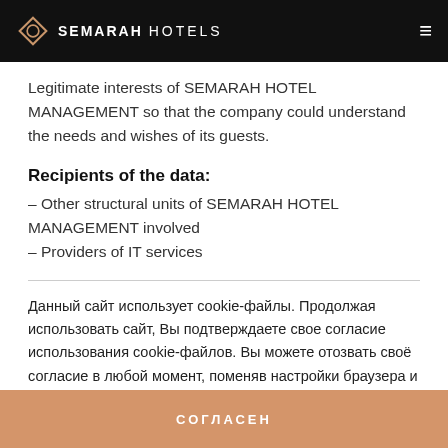SEMARAH HOTELS
Legitimate interests of SEMARAH HOTEL MANAGEMENT so that the company could understand the needs and wishes of its guests.
Recipients of the data:
– Other structural units of SEMARAH HOTEL MANAGEMENT involved
– Providers of IT services
Данный сайт использует cookie-файлы. Продолжая использовать сайт, Вы подтверждаете свое согласие использования cookie-файлов. Вы можете отозвать своё согласие в любой момент, поменяв настройки браузера и удалив сохраненные cookie-файлы. Ознакомитесь с политикой cookie – файлов.
СОГЛАСЕН